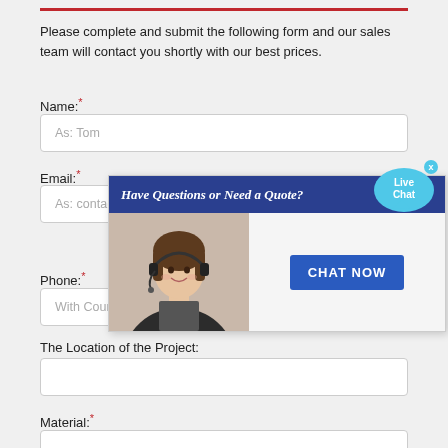Please complete and submit the following form and our sales team will contact you shortly with our best prices.
Name:*
As: Tom
Email:*
As: contact@trademelin.com
[Figure (screenshot): Live chat popup overlay with header 'Have Questions or Need a Quote?', image of a female customer service representative wearing a headset, and a 'CHAT NOW' button. A 'Live Chat' speech bubble appears in the top right.]
Phone:*
With Country Code
The Location of the Project:
Material:*